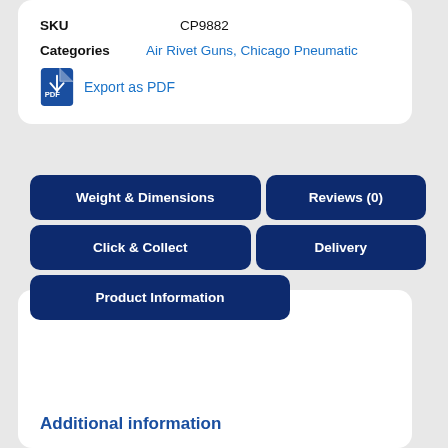SKU: CP9882
Categories: Air Rivet Guns, Chicago Pneumatic
Export as PDF
Weight & Dimensions
Reviews (0)
Click & Collect
Delivery
Product Information
Additional information